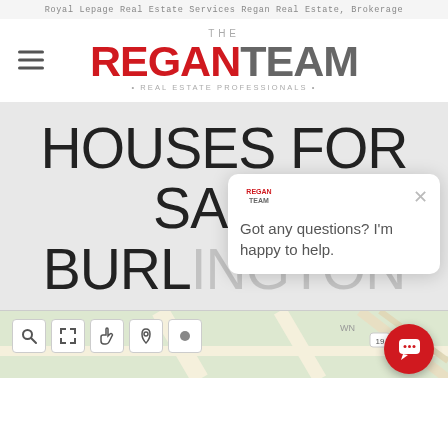Royal Lepage Real Estate Services Regan Real Estate, Brokerage
[Figure (logo): The Regan Team Real Estate Professionals logo with hamburger menu icon]
HOUSES FOR SALE BURLINGTON
Got any questions? I'm happy to help.
[Figure (map): Google Maps partial view with map toolbar icons and road network]